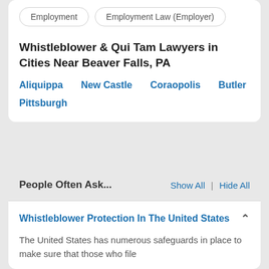Employment
Employment Law (Employer)
Whistleblower & Qui Tam Lawyers in Cities Near Beaver Falls, PA
Aliquippa
New Castle
Coraopolis
Butler
Pittsburgh
People Often Ask...
Show All | Hide All
Whistleblower Protection In The United States
The United States has numerous safeguards in place to make sure that those who file